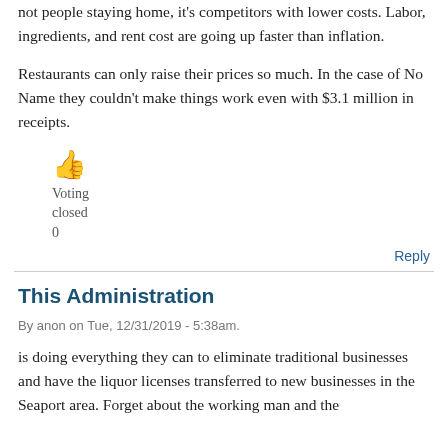not people staying home, it's competitors with lower costs. Labor, ingredients, and rent cost are going up faster than inflation.
Restaurants can only raise their prices so much. In the case of No Name they couldn't make things work even with $3.1 million in receipts.
👍
Voting
closed
0
Reply
This Administration
By anon on Tue, 12/31/2019 - 5:38am.
is doing everything they can to eliminate traditional businesses and have the liquor licenses transferred to new businesses in the Seaport area. Forget about the working man and the